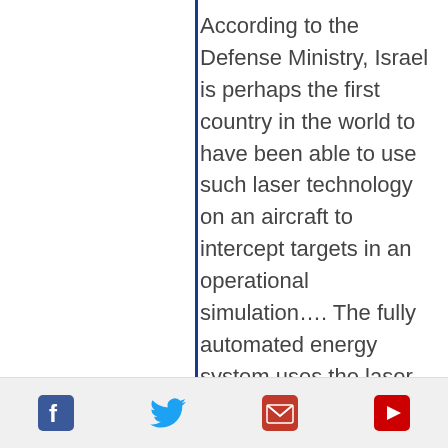According to the Defense Ministry, Israel is perhaps the first country in the world to have been able to use such laser technology on an aircraft to intercept targets in an operational simulation…. The fully automated energy system uses the laser to destroy a target while flying above the clouds, he said, adding that the “powerful and precise system” can intercept the target “regardless of
[social icons: Facebook, Twitter, Email, YouTube]